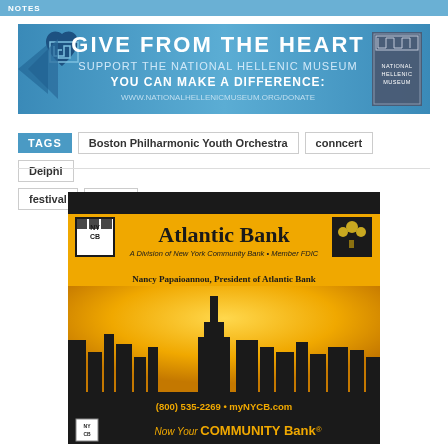NOTES
[Figure (infographic): Give From The Heart - Support the National Hellenic Museum banner ad with blue background, heart logo with Greek meander pattern, and National Hellenic Museum logo. Text: GIVE FROM THE HEART, SUPPORT THE NATIONAL HELLENIC MUSEUM, YOU CAN MAKE A DIFFERENCE: WWW.NATIONALHELLENICMUSEUM.ORG/DONATE]
Boston Philharmonic Youth Orchestra
conncert
Delphi
festival
music
[Figure (infographic): Atlantic Bank advertisement. Gold/yellow background with city skyline silhouette. Text: Atlantic Bank, A Division of New York Community Bank, Member FDIC, Nancy Papaioannou President of Atlantic Bank, (800) 535-2269, myNYCB.com, Now Your COMMUNITY Bank. NYCB logo in corners.]